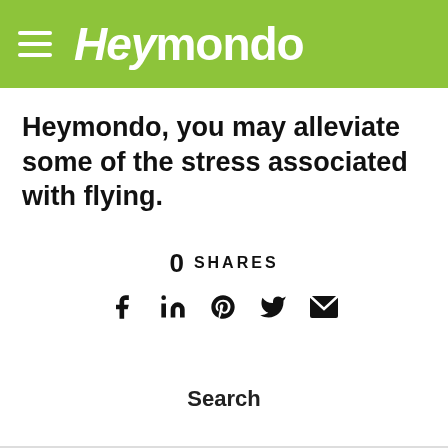Heymondo
Heymondo, you may alleviate some of the stress associated with flying.
0 SHARES
[Figure (infographic): Social share icons: Facebook, LinkedIn, Pinterest, Twitter, Email]
Search